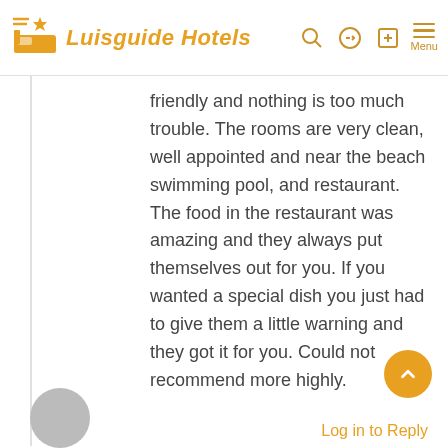Luisguide Hotels
friendly and nothing is too much trouble. The rooms are very clean, well appointed and near the beach swimming pool, and restaurant. The food in the restaurant was amazing and they always put themselves out for you. If you wanted a special dish you just had to give them a little warning and they got it for you. Could not recommend more highly.
Log in to Reply